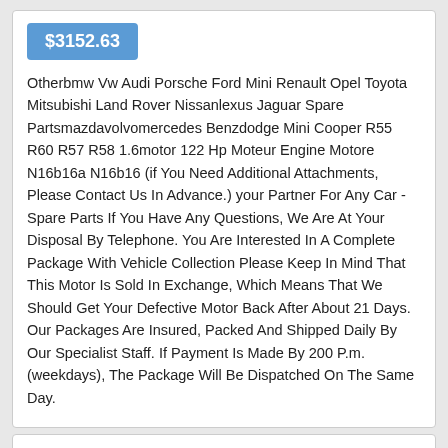$3152.63
Otherbmw Vw Audi Porsche Ford Mini Renault Opel Toyota Mitsubishi Land Rover Nissanlexus Jaguar Spare Partsmazdavolvomercedes Benzdodge Mini Cooper R55 R60 R57 R58 1.6motor 122 Hp Moteur Engine Motore N16b16a N16b16 (if You Need Additional Attachments, Please Contact Us In Advance.) your Partner For Any Car - Spare Parts If You Have Any Questions, We Are At Your Disposal By Telephone. You Are Interested In A Complete Package With Vehicle Collection Please Keep In Mind That This Motor Is Sold In Exchange, Which Means That We Should Get Your Defective Motor Back After About 21 Days. Our Packages Are Insured, Packed And Shipped Daily By Our Specialist Staff. If Payment Is Made By 200 P.m. (weekdays), The Package Will Be Dispatched On The Same Day.
[Figure (photo): Photo of spiral springs / coil springs automotive parts]